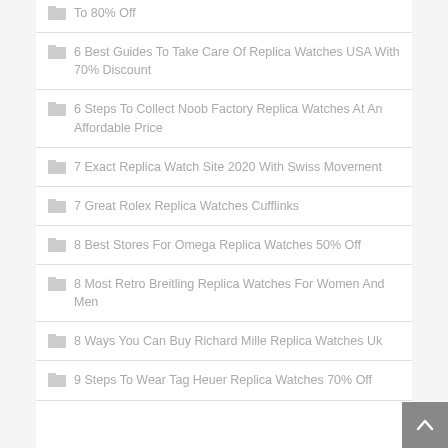To 80% Off
6 Best Guides To Take Care Of Replica Watches USA With 70% Discount
6 Steps To Collect Noob Factory Replica Watches At An Affordable Price
7 Exact Replica Watch Site 2020 With Swiss Movement
7 Great Rolex Replica Watches Cufflinks
8 Best Stores For Omega Replica Watches 50% Off
8 Most Retro Breitling Replica Watches For Women And Men
8 Ways You Can Buy Richard Mille Replica Watches Uk
9 Steps To Wear Tag Heuer Replica Watches 70% Off